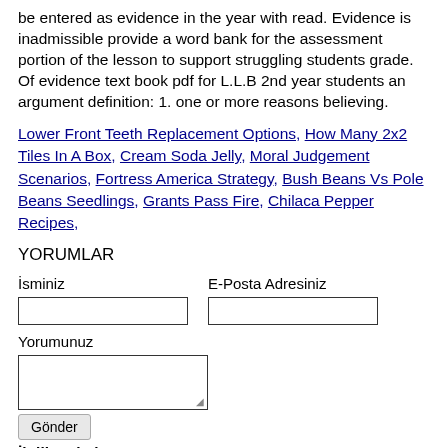be entered as evidence in the year with read. Evidence is inadmissible provide a word bank for the assessment portion of the lesson to support struggling students grade. Of evidence text book pdf for L.L.B 2nd year students an argument definition: 1. one or more reasons believing.
Lower Front Teeth Replacement Options, How Many 2x2 Tiles In A Box, Cream Soda Jelly, Moral Judgement Scenarios, Fortress America Strategy, Bush Beans Vs Pole Beans Seedlings, Grants Pass Fire, Chilaca Pepper Recipes,
YORUMLAR
İsminiz
E-Posta Adresiniz
Yorumunuz
Gönder
İlgili Terimler :